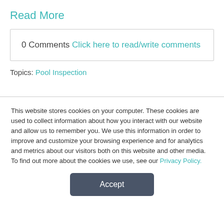Read More
0 Comments Click here to read/write comments
Topics: Pool Inspection
This website stores cookies on your computer. These cookies are used to collect information about how you interact with our website and allow us to remember you. We use this information in order to improve and customize your browsing experience and for analytics and metrics about our visitors both on this website and other media. To find out more about the cookies we use, see our Privacy Policy.
Accept